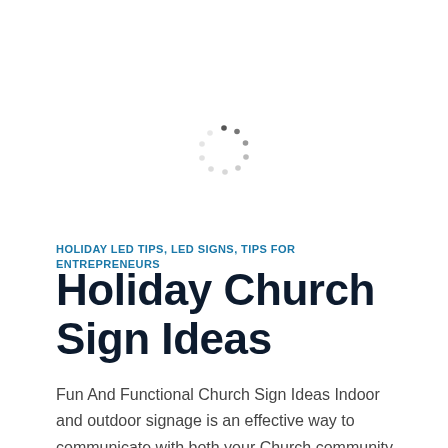[Figure (other): A circular loading spinner animation made of small dots arranged in a circle, with darker dots at the top and lighter/faded dots completing the ring, indicating a loading state.]
HOLIDAY LED TIPS, LED SIGNS, TIPS FOR ENTREPRENEURS
Holiday Church Sign Ideas
Fun And Functional Church Sign Ideas Indoor and outdoor signage is an effective way to communicate with both your Church community and your congregation. Using funny holiday church